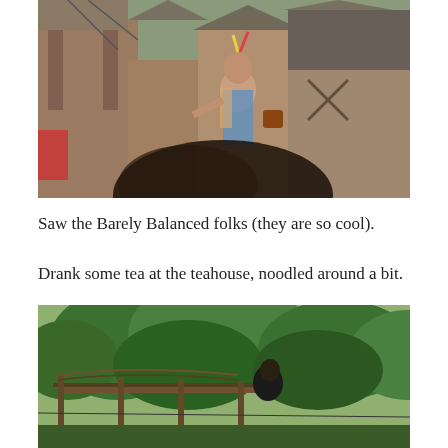[Figure (photo): A performer in colorful costume with feathers in hair stands on a wooden stage area in front of rustic medieval-style wooden buildings. A blurred dark-haired head is visible in the foreground.]
Saw the Barely Balanced folks (they are so cool).
Drank some tea at the teahouse, noodled around a bit.
[Figure (photo): An outdoor scene showing a wooden rope bridge or walkway structure with lush green trees in the background.]